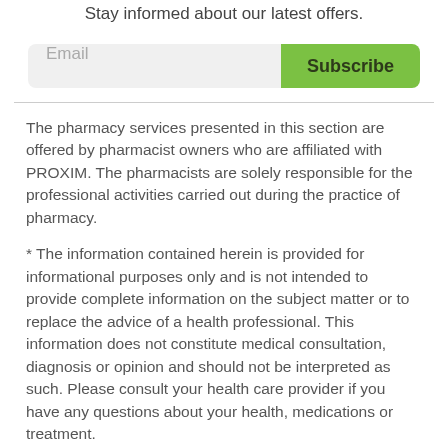Stay informed about our latest offers.
[Figure (other): Email input field with Subscribe button]
The pharmacy services presented in this section are offered by pharmacist owners who are affiliated with PROXIM. The pharmacists are solely responsible for the professional activities carried out during the practice of pharmacy.
* The information contained herein is provided for informational purposes only and is not intended to provide complete information on the subject matter or to replace the advice of a health professional. This information does not constitute medical consultation, diagnosis or opinion and should not be interpreted as such. Please consult your health care provider if you have any questions about your health, medications or treatment.